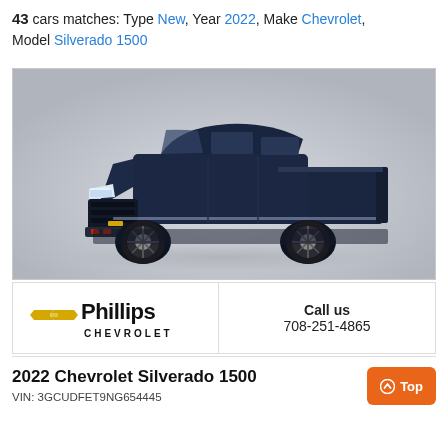43 cars matches: Type New, Year 2022, Make Chevrolet, Model Silverado 1500
[Figure (photo): 2022 Chevrolet Silverado 1500 pickup truck in dark navy blue color, photographed on a light grey gradient studio background, three-quarter front view.]
[Figure (logo): Phillips Chevrolet dealer logo with gold Chevrolet bowtie emblem and bold black text reading Phillips CHEVROLET]
Call us
708-251-4865
2022 Chevrolet Silverado 1500
VIN: 3GCUDFET9NG654445